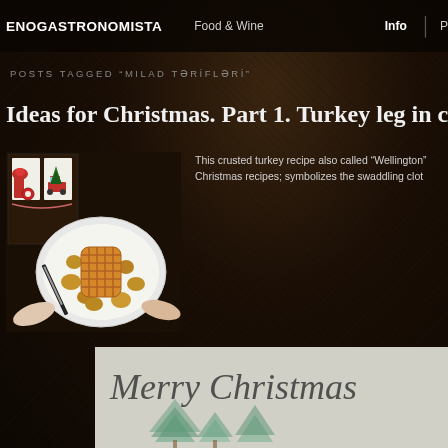ENOGASTRONOMISTA | Food & Wine | Info | P
POSTS TAGGED "MILAD TƏRIFLƏRİ"
Ideas for Christmas. Part 1. Turkey leg in cru
[Figure (photo): Food photo showing a dish of crusted turkey leg with roasted potatoes in a white bowl, being cut with a knife, with Christmas-themed art prints in the background]
This crusted turkey recipe also called "Wellington" Christmas recipes; symbolizes the swaddling clot
[Figure (photo): Photo showing a Merry Christmas text written in cursive script on fabric or paper, with Christmas tree watercolor illustration below]